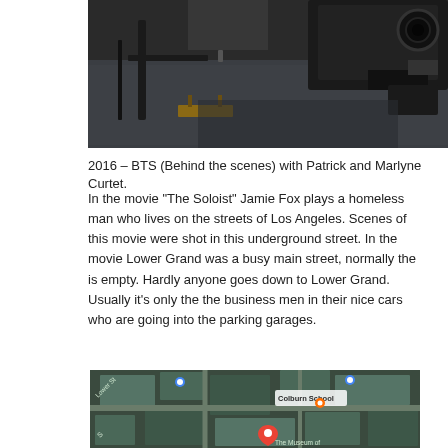[Figure (photo): Behind the scenes photo showing studio or film equipment in a dark interior room with carpet and industrial-looking metal rigs or camera equipment.]
2016 – BTS (Behind the scenes) with Patrick and Marlyne Curtet.
In the movie “The Soloist” Jamie Fox plays a homeless man who lives on the streets of Los Angeles. Scenes of this movie were shot in this underground street. In the movie Lower Grand was a busy main street, normally the is empty. Hardly anyone goes down to Lower Grand. Usually it’s only the the business men in their nice cars who are going into the parking garages.
[Figure (screenshot): Google Maps screenshot showing an aerial/overhead view of a city block area with street labels including Lower St, Colburn School, and a museum label visible. A red location pin is shown.]